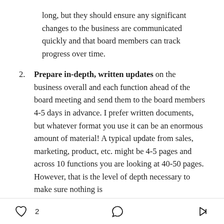long, but they should ensure any significant changes to the business are communicated quickly and that board members can track progress over time.
2. Prepare in-depth, written updates on the business overall and each function ahead of the board meeting and send them to the board members 4-5 days in advance. I prefer written documents, but whatever format you use it can be an enormous amount of material! A typical update from sales, marketing, product, etc. might be 4-5 pages and across 10 functions you are looking at 40-50 pages. However, that is the level of depth necessary to make sure nothing is
♡ 2   ○   ↗